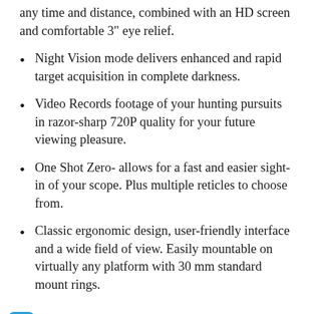any time and distance, combined with an HD screen and comfortable 3" eye relief.
Night Vision mode delivers enhanced and rapid target acquisition in complete darkness.
Video Records footage of your hunting pursuits in razor-sharp 720P quality for your future viewing pleasure.
One Shot Zero- allows for a fast and easier sight-in of your scope. Plus multiple reticles to choose from.
Classic ergonomic design, user-friendly interface and a wide field of view. Easily mountable on virtually any platform with 30 mm standard mount rings.
9. Gamo 611006875554 Swarm Whisper Air Rifle, .22 Caliber,Black